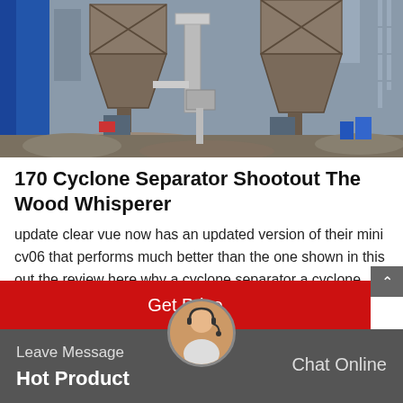[Figure (photo): Industrial cyclone separator equipment — large metal hopper/cone separators on a factory floor with pipes and machinery, dusty environment]
170 Cyclone Separator Shootout The Wood Whisperer
update clear vue now has an updated version of their mini cv06 that performs much better than the one shown in this out the review here why a cyclone separator a cyclone separator is essentially a bucket with a fancy lid when connected to a vacuu...
Get Price
Leave Message
Hot Product
Chat Online